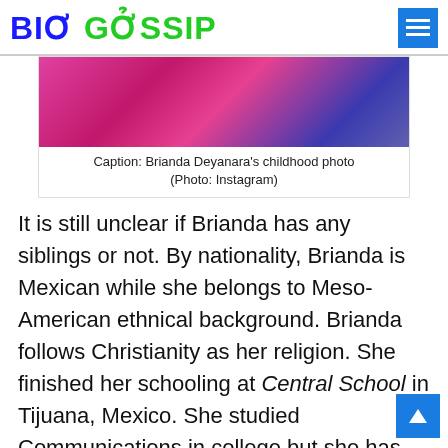BIO GOSSIP
[Figure (photo): Brianda Deyanara's childhood photo]
Caption: Brianda Deyanara's childhood photo (Photo: Instagram)
It is still unclear if Brianda has any siblings or not. By nationality, Brianda is Mexican while she belongs to Meso-American ethnical background. Brianda follows Christianity as her religion. She finished her schooling at Central School in Tijuana, Mexico. She studied Communications in college but she has not shared the actual name of her college with the media.